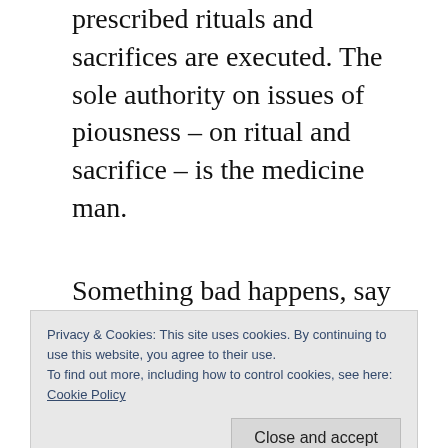prescribed rituals and sacrifices are executed. The sole authority on issues of piousness – on ritual and sacrifice – is the medicine man.
Something bad happens, say the watering hole dries up. Under epistemic closure, the tribesman will only consider questions around how the tribe or he himself have failed to be
Privacy & Cookies: This site uses cookies. By continuing to use this website, you agree to their use.
To find out more, including how to control cookies, see here: Cookie Policy
Close and accept
Questions that have to do with lack of rain,